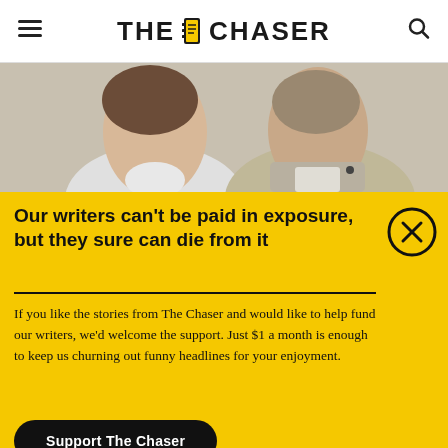THE CHASER
[Figure (photo): Two people, shoulders and faces visible, against a neutral background]
Our writers can't be paid in exposure, but they sure can die from it
If you like the stories from The Chaser and would like to help fund our writers, we'd welcome the support. Just $1 a month is enough to keep us churning out funny headlines for your enjoyment.
Support The Chaser
Sick of this popup? Click here to never see this again.